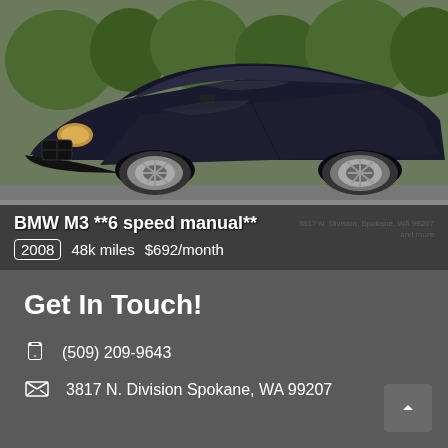[Figure (photo): Dark navy/black BMW M3 coupe parked outdoors, front three-quarter view, green trees in background, large silver alloy wheels visible]
BMW M3 **6 speed manual**
2008   48k miles   $692/month
Get In Touch!
(509) 209-9643
3817 N. Division Spokane, WA 99207